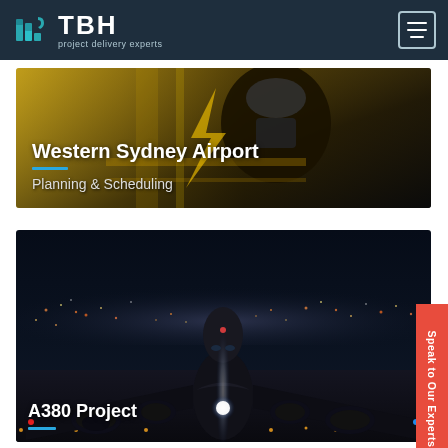[Figure (logo): TBH project delivery experts logo with teal building icon on dark navy background]
[Figure (photo): Western Sydney Airport card showing runway/aircraft wheel on yellow marked runway]
Western Sydney Airport
Planning & Scheduling
[Figure (photo): A380 Project card showing large aircraft on night airport runway with city lights in background]
A380 Project
Speak to Our Experts